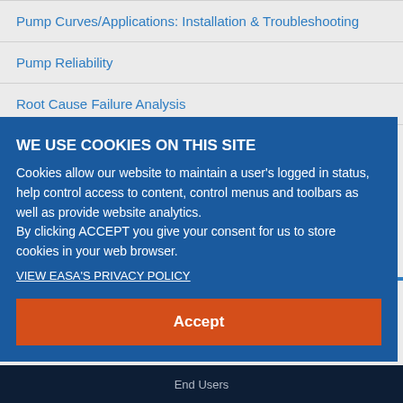Pump Curves/Applications: Installation & Troubleshooting
Pump Reliability
Root Cause Failure Analysis
WE USE COOKIES ON THIS SITE
Cookies allow our website to maintain a user's logged in status, help control access to content, control menus and toolbars as well as provide website analytics.
By clicking ACCEPT you give your consent for us to store cookies in your web browser.
VIEW EASA'S PRIVACY POLICY
Accept
End Users